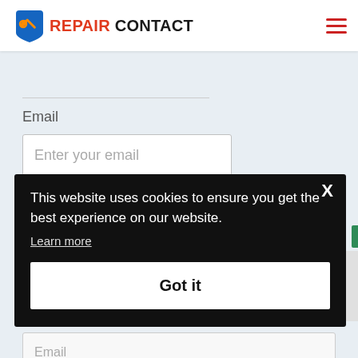[Figure (logo): Repair Contact logo with wrench icon in blue/red/orange and bold text REPAIR CONTACT]
Email
Enter your email
This website uses cookies to ensure you get the best experience on our website. Learn more
Got it
Email